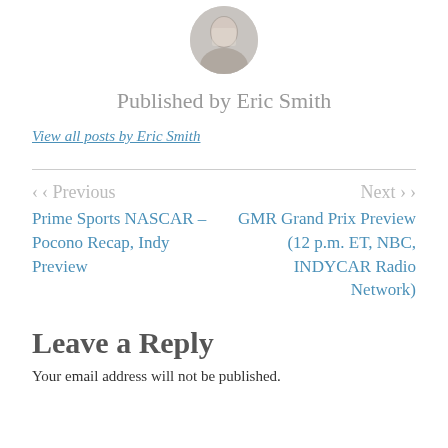[Figure (photo): Circular profile photo of Eric Smith, a man in a light-colored checked shirt]
Published by Eric Smith
View all posts by Eric Smith
< Previous
Next >
Prime Sports NASCAR – Pocono Recap, Indy Preview
GMR Grand Prix Preview (12 p.m. ET, NBC, INDYCAR Radio Network)
Leave a Reply
Your email address will not be published.